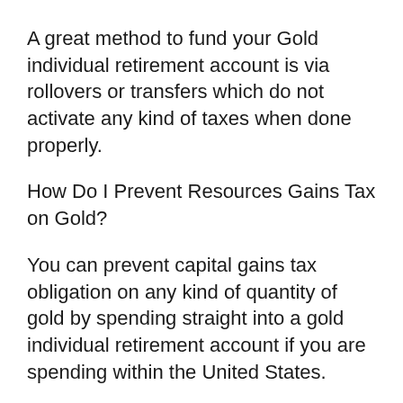A great method to fund your Gold individual retirement account is via rollovers or transfers which do not activate any kind of taxes when done properly.
How Do I Prevent Resources Gains Tax on Gold?
You can prevent capital gains tax obligation on any kind of quantity of gold by spending straight into a gold individual retirement account if you are spending within the United States.
Various other tax obligations and also fees may apply if you're purchasing a various nation.